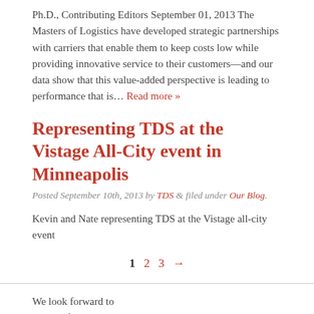Ph.D., Contributing Editors September 01, 2013 The Masters of Logistics have developed strategic partnerships with carriers that enable them to keep costs low while providing innovative service to their customers—and our data show that this value-added perspective is leading to performance that is… Read more »
Representing TDS at the Vistage All-City event in Minneapolis
Posted September 10th, 2013 by TDS & filed under Our Blog.
Kevin and Nate representing TDS at the Vistage all-city event
1  2  3  →
We look forward to hearing from you.